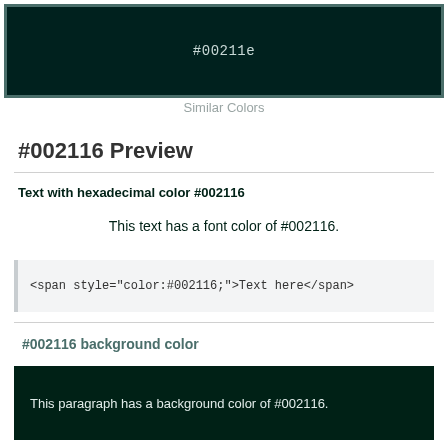[Figure (other): Color swatch showing #00211e as a dark teal/green rectangle with hex label]
Similar Colors
#002116 Preview
Text with hexadecimal color #002116
This text has a font color of #002116.
<span style="color:#002116;">Text here</span>
#002116 background color
This paragraph has a background color of #002116.